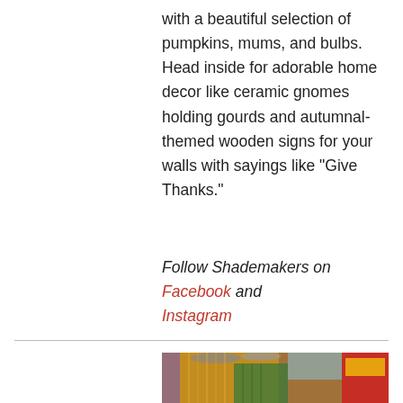with a beautiful selection of pumpkins, mums, and bulbs. Head inside for adorable home decor like ceramic gnomes holding gourds and autumnal-themed wooden signs for your walls with sayings like "Give Thanks."
Follow Shademakers on Facebook and Instagram
[Figure (photo): Photo of colorful sticks/incense bundles (yellow, green, purple) in jars, with red product boxes visible in the background.]